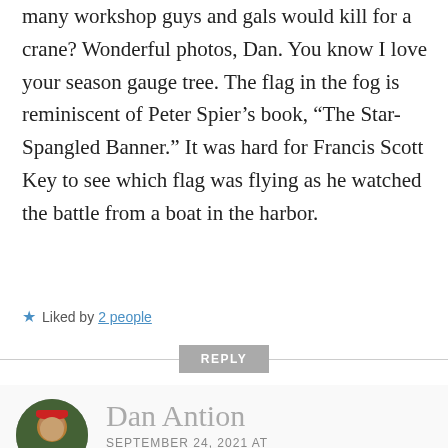many workshop guys and gals would kill for a crane? Wonderful photos, Dan. You know I love your season gauge tree. The flag in the fog is reminiscent of Peter Spier’s book, “The Star-Spangled Banner.” It was hard for Francis Scott Key to see which flag was flying as he watched the battle from a boat in the harbor.
★ Liked by 2 people
REPLY
Dan Antion
SEPTEMBER 24, 2021 AT